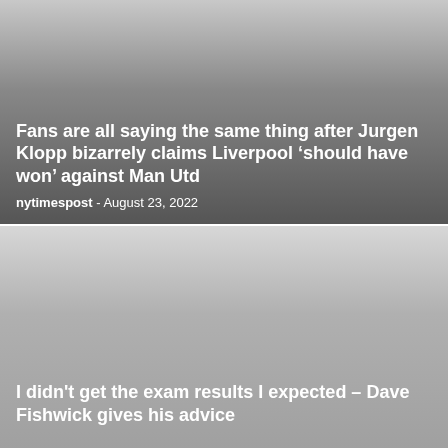[Figure (photo): Dark gradient background image for first news article card]
Fans are all saying the same thing after Jurgen Klopp bizarrely claims Liverpool ‘should have won’ against Man Utd
nytimespost  -  August 23, 2022
[Figure (photo): Light gradient background image for second news article card]
I didn't get the exam results I expected – Dave Fishwick gives his advice